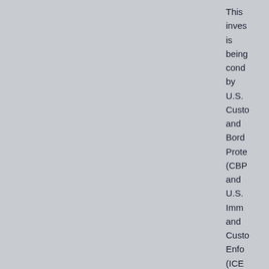This investigation is being conducted by U.S. Customs and Border Protection (CBP) and U.S. Immigration and Customs Enforcement (ICE) Homeland Security